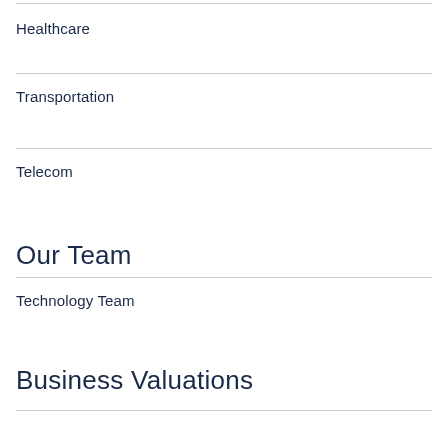Healthcare
Transportation
Telecom
Our Team
Technology Team
Business Valuations